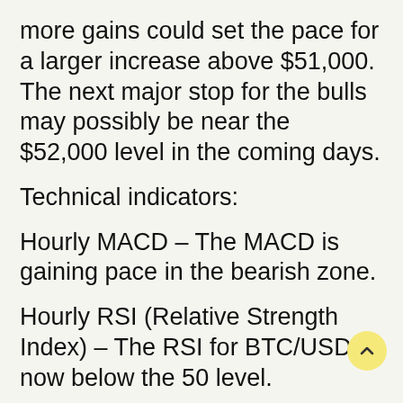more gains could set the pace for a larger increase above $51,000. The next major stop for the bulls may possibly be near the $52,000 level in the coming days.
Technical indicators:
Hourly MACD – The MACD is gaining pace in the bearish zone.
Hourly RSI (Relative Strength Index) – The RSI for BTC/USD is now below the 50 level.